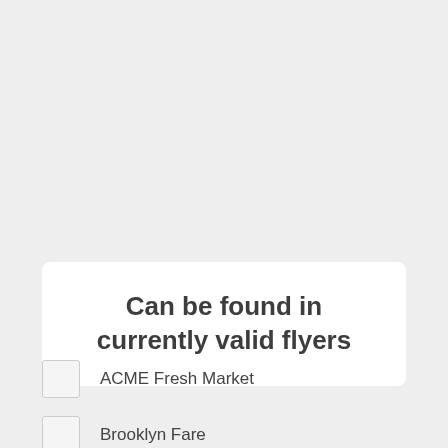Can be found in currently valid flyers
ACME Fresh Market
Brooklyn Fare